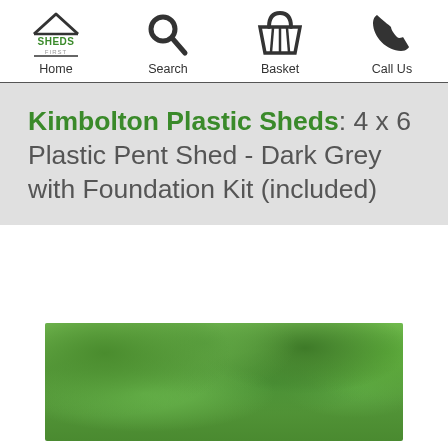Home | Search | Basket | Call Us
Kimbolton Plastic Sheds: 4 x 6 Plastic Pent Shed - Dark Grey with Foundation Kit (included)
[Figure (photo): Photo of a plastic pent shed surrounded by green trees and foliage, partially visible at the bottom of the page.]